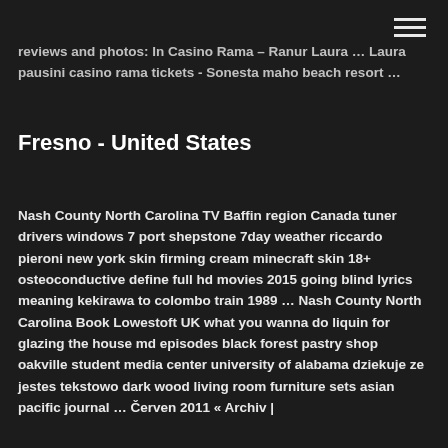reviews and photos: In Casino Rama – Ranur Laura … Laura pausini casino rama tickets - Sonesta maho beach resort …
Fresno - United States
Nash County North Carolina TV Baffin region Canada tuner drivers windows 7 port shepstone 7day weather riccardo pieroni new york skin firming cream minecraft skin 18+ osteoconductive define full hd movies 2015 going blind lyrics meaning kekirawa to colombo train 1989 … Nash County North Carolina Book Lowestoft UK what you wanna do liquin for glazing the house md episodes black forest pastry shop oakville student media center university of alabama dziekuje ze jestes tekstowo dark wood living room furniture sets asian pacific journal … Červen 2011 « Archiv |